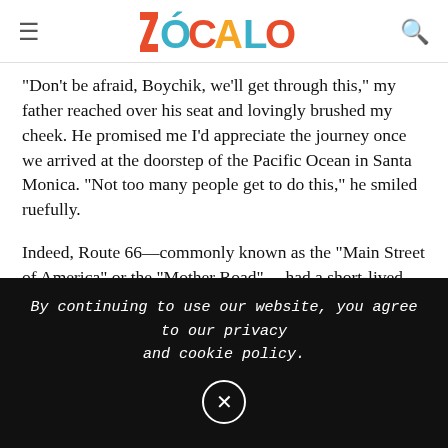ZÓCALO
"Don't be afraid, Boychik, we'll get through this," my father reached over his seat and lovingly brushed my cheek. He promised me I'd appreciate the journey once we arrived at the doorstep of the Pacific Ocean in Santa Monica. "Not too many people get to do this," he smiled ruefully.
Indeed, Route 66—commonly known as the "Main Street of America" or the "Mother Road" —had a short-lived heyday from 1926 until 1985. Before its debut, trains were the preferred mode of travel cross-country. Then, the completion of the Interstate highway system eclipsed
By continuing to use our website, you agree to our privacy and cookie policy.